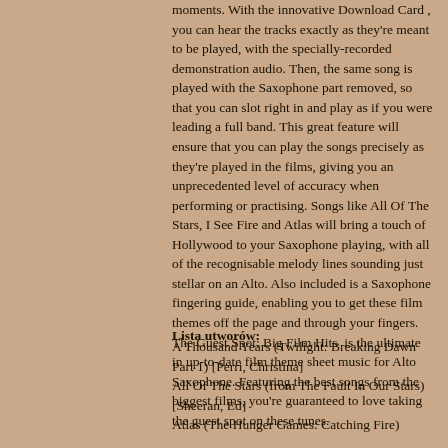moments.  With the innovative Download Card , you can hear the tracks exactly as they're meant to be played, with the specially-recorded demonstration audio. Then, the same song is played with the Saxophone part removed, so that you can slot right in and play as if you were leading a full band. This great feature will ensure that you can play the songs precisely as they're played in the films, giving you an unprecedented level of accuracy when performing or practising. Songs like All Of The Stars, I See Fire and Atlas will bring a touch of Hollywood to your Saxophone playing, with all of the recognisable melody lines sounding just stellar on an Alto. Also included is a Saxophone fingering guide, enabling you to get these film themes off the page and through your fingers. The Guest Spot: Big Film Hits  is the ultimate in up-to-date film theme sheet music for Alto Saxophone. Featuring the best songs from the biggest films, you're guaranteed to love taking the guest spot on these tunes.
Lista utworów:
A Thousand Years (Twilight: Breaking Dawn Part 1) [Perri, Christina]
All Of The Stars (from The Fault In Our Stars) [Sheeran, Ed]
Atlas (The Hunger Games: Catching Fire)